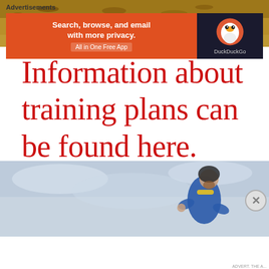[Figure (photo): Top strip showing dry sandy/straw ground texture, brown and golden tones]
Information about training plans can be found here.
[Figure (photo): A person in a blue hoodie running, photographed from the side against a cloudy grey sky]
Advertisements
[Figure (other): DuckDuckGo advertisement banner: Search, browse, and email with more privacy. All in One Free App. DuckDuckGo logo on dark background.]